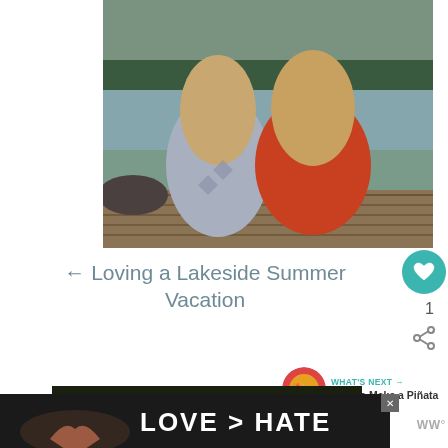[Figure (photo): Two young women with long blonde hair seen from behind, sitting on a wooden dock by a lake with mountains and trees in the background. One wears a grey patterned top, the other an orange knit top.]
← Loving a Lakeside Summer Vacation
[Figure (photo): Circular thumbnail photo showing colorful items, likely related to 'How to Make a Piñata' article.]
WHAT'S NEXT → How to Make a Piñata
[Figure (photo): Partial photo at bottom showing dark background with blurred produce/food items.]
[Figure (photo): Advertisement banner showing hands forming a heart shape with text 'LOVE > HATE' in white on dark background.]